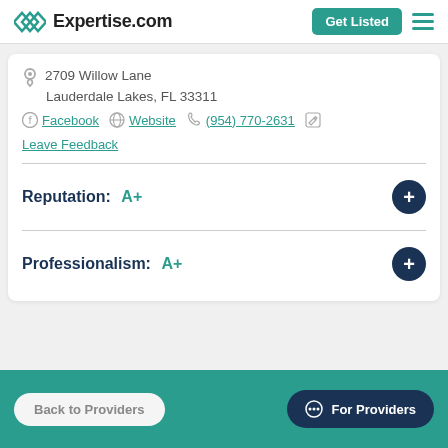Expertise.com
2709 Willow Lane
Lauderdale Lakes, FL 33311
Facebook  Website  (954) 770-2631
Leave Feedback
Reputation: A+
Professionalism: A+
Back to Providers    For Providers